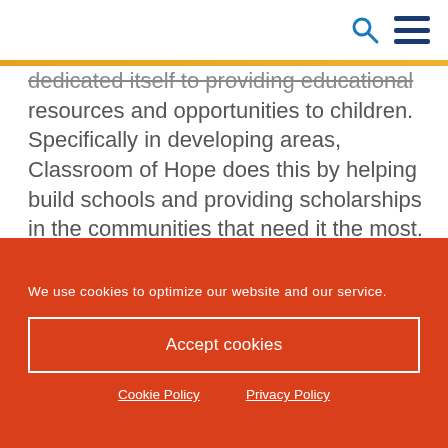[search icon] [menu icon]
dedicated itself to providing educational resources and opportunities to children. Specifically in developing areas, Classroom of Hope does this by helping build schools and providing scholarships in the communities that need it the most.
Green Dream
We use cookies to optimize our website and our service.
Accept cookies
Cookie Policy  Privacy Policy